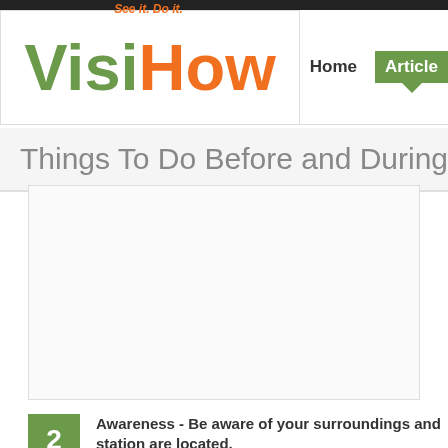[Figure (logo): VisiHow logo with tagline 'See it. Do it.' in green and orange]
Home   Articles
Things To Do Before and During th
[Figure (other): Advertisement placeholder box]
2 Awareness - Be aware of your surroundings and station are located. If you are being followed, make sure to contact t violence happen to tourists. You should know wher